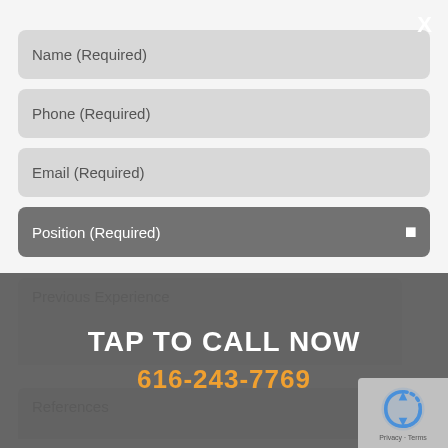Name (Required)
Phone (Required)
Email (Required)
Position (Required)
Previous Experience
TAP TO CALL NOW
616-243-7769
References